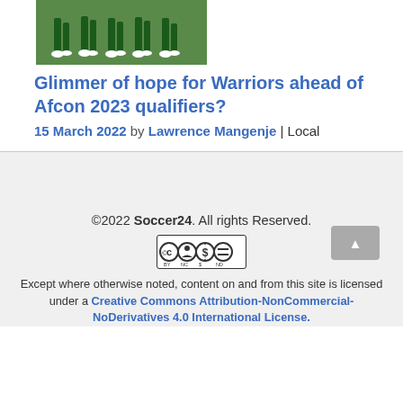[Figure (photo): Partial photo of soccer/football players on a green pitch, showing legs and green uniforms from knees down]
Glimmer of hope for Warriors ahead of Afcon 2023 qualifiers?
15 March 2022 by Lawrence Mangenje | Local
[Figure (logo): Creative Commons BY-NC-ND license badge]
©2022 Soccer24. All rights Reserved.
Except where otherwise noted, content on and from this site is licensed under a Creative Commons Attribution-NonCommercial-NoDerivatives 4.0 International License.